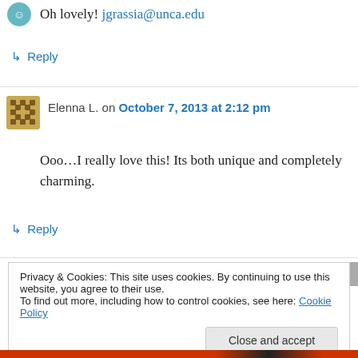Oh lovely! jgrassia@unca.edu
↳ Reply
Elenna L. on October 7, 2013 at 2:12 pm
Ooo…I really love this! Its both unique and completely charming.
↳ Reply
Privacy & Cookies: This site uses cookies. By continuing to use this website, you agree to their use. To find out more, including how to control cookies, see here: Cookie Policy
Close and accept